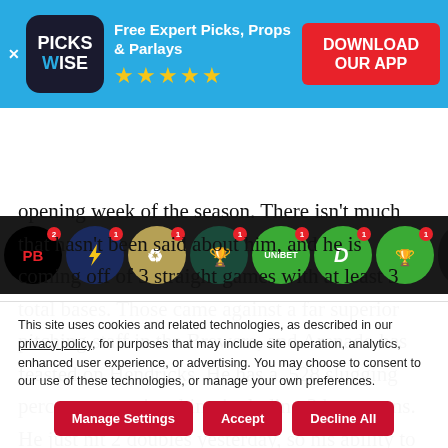[Figure (screenshot): Pickswise app advertisement banner with logo, tagline 'Free Expert Picks, Props & Parlays', 5 star rating, and Download Our App button]
[Figure (screenshot): Row of sportsbook app icons on dark background including PB, lightning bolt, and various betting platform logos]
opening week of the season. There isn't much that hasn't been said about him, and he is coming off of 3 straight games with at least 3 total bases. Those came against a far superior pitching staff in the Brewers, and Arenado has feasted on Hendricks. He has a .528 slugging percentage against him, including 3 home runs. He just hit 2 doubles yesterday, so his ability to cash this
This site uses cookies and related technologies, as described in our privacy policy, for purposes that may include site operation, analytics, enhanced user experience, or advertising. You may choose to consent to our use of these technologies, or manage your own preferences.
Manage Settings | Accept | Decline All